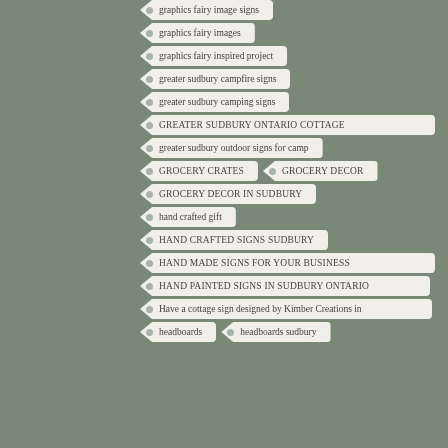graphics fairy image signs
graphics fairy images
graphics fairy inspired project
greater sudbury campfire signs
greater sudbury camping signs
GREATER SUDBURY ONTARIO COTTAGE
greater sudbury outdoor signs for camp
GROCERY CRATES
GROCERY DECOR
GROCERY DECOR IN SUDBURY
hand crafted gift
HAND CRAFTED SIGNS SUDBURY
HAND MADE SIGNS FOR YOUR BUSINESS
HAND PAINTED SIGNS IN SUDBURY ONTARIO
Have a cottage sign designed by Kimber Creations in
headboards
headboards sudbury